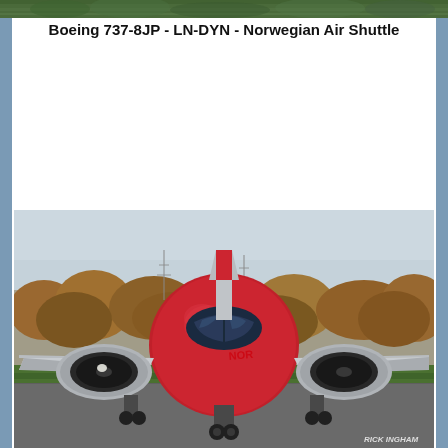[Figure (photo): Top green foliage strip photo banner]
Boeing 737-8JP - LN-DYN - Norwegian Air Shuttle
[Figure (photo): Front-on photograph of a Norwegian Air Shuttle Boeing 737-8JP (registration LN-DYN) with red nose, taxiing on runway, engines visible, trees and hazy sky in background. Photo credit: RICK INGHAM]